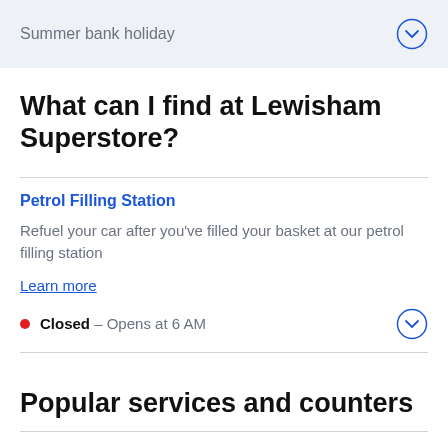Summer bank holiday
What can I find at Lewisham Superstore?
Petrol Filling Station
Refuel your car after you've filled your basket at our petrol filling station
Learn more
Closed – Opens at 6 AM
Popular services and counters